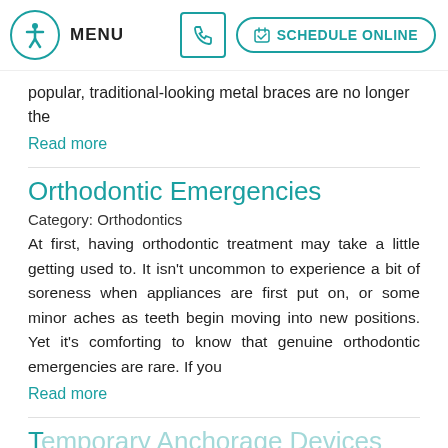MENU | SCHEDULE ONLINE
popular, traditional-looking metal braces are no longer the
Read more
Orthodontic Emergencies
Category: Orthodontics
At first, having orthodontic treatment may take a little getting used to. It isn't uncommon to experience a bit of soreness when appliances are first put on, or some minor aches as teeth begin moving into new positions. Yet it's comforting to know that genuine orthodontic emergencies are rare. If you
Read more
T... A... D... (TADS)